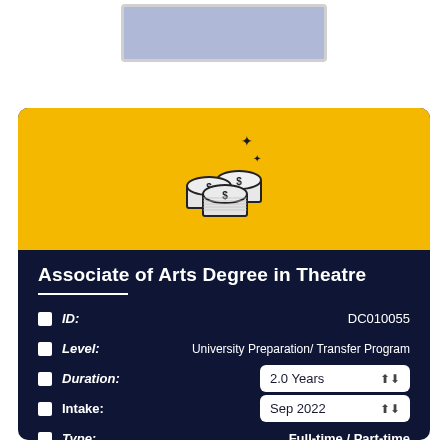[Figure (screenshot): Top card placeholder with blue/lavender background]
[Figure (illustration): Coins stack icon with dollar signs and sparkles on yellow background]
Associate of Arts Degree in Theatre
ID: DC010055
Level: University Preparation/ Transfer Program
Duration: 2.0 Years
Intake: Sep 2022
Type: Full-time / Part-time